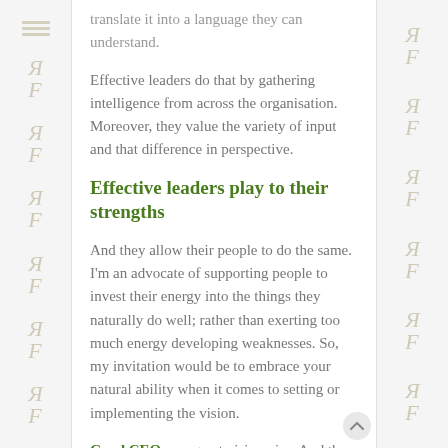translate it into a language they can understand.
Effective leaders do that by gathering intelligence from across the organisation. Moreover, they value the variety of input and that difference in perspective.
Effective leaders play to their strengths
And they allow their people to do the same. I'm an advocate of supporting people to invest their energy into the things they naturally do well; rather than exerting too much energy developing weaknesses. So, my invitation would be to embrace your natural ability when it comes to setting or implementing the vision.
Good CEOs are great visionaries. And they know how to sell that dream and bring people along with them on the journey. Effective leaders know